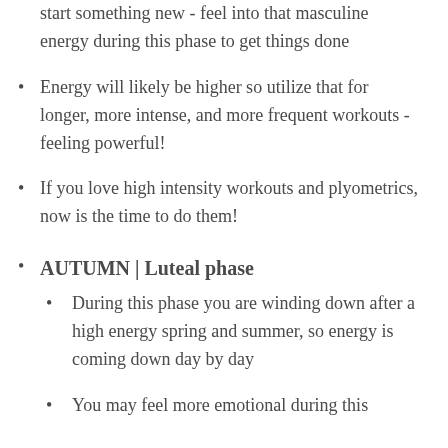start something new - feel into that masculine energy during this phase to get things done
Energy will likely be higher so utilize that for longer, more intense, and more frequent workouts - feeling powerful!
If you love high intensity workouts and plyometrics, now is the time to do them!
AUTUMN | Luteal phase
During this phase you are winding down after a high energy spring and summer, so energy is coming down day by day
You may feel more emotional during this